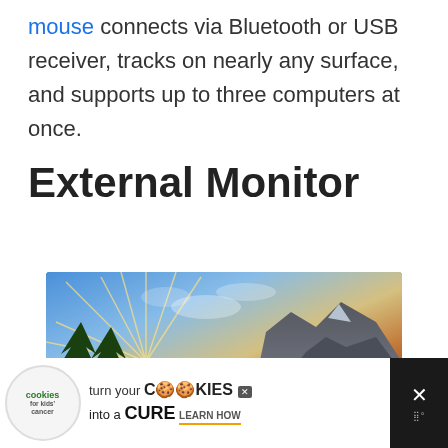mouse connects via Bluetooth or USB receiver, tracks on nearly any surface, and supports up to three computers at once.
External Monitor
[Figure (photo): External monitor showing a scenic mountain landscape with waterfall, green trees, and a dramatic sky with sun rays, displayed on a dark-framed monitor screen.]
[Figure (other): Advertisement banner: 'cookies for kids cancer — turn your COOKIES into a CURE LEARN HOW' with a cookie logo, white background, and a dark close button area on the right.]